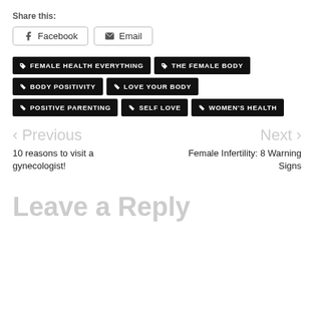Share this:
Facebook
Email
FEMALE HEALTH EVERYTHING
THE FEMALE BODY
BODY POSITIVITY
LOVE YOUR BODY
POSITIVE PARENTING
SELF LOVE
WOMEN'S HEALTH
< Previous
Next >
10 reasons to visit a gynecologist!
Female Infertility: 8 Warning Signs
Leave a Reply